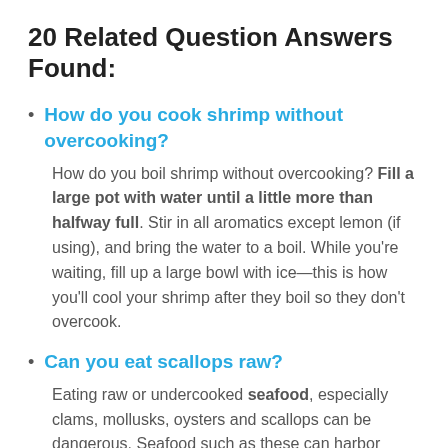20 Related Question Answers Found:
How do you cook shrimp without overcooking?
How do you boil shrimp without overcooking? Fill a large pot with water until a little more than halfway full. Stir in all aromatics except lemon (if using), and bring the water to a boil. While you're waiting, fill up a large bowl with ice—this is how you'll cool your shrimp after they boil so they don't overcook.
Can you eat scallops raw?
Eating raw or undercooked seafood, especially clams, mollusks, oysters and scallops can be dangerous. Seafood such as these can harbor bacteria that are